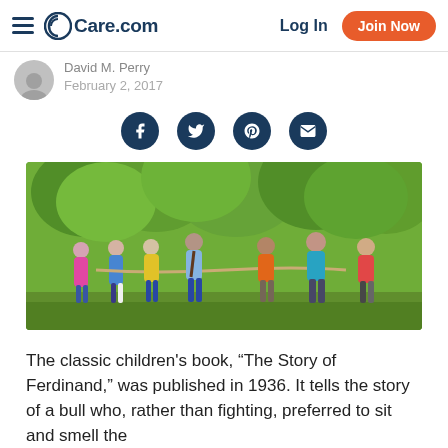Care.com | Log In | Join Now
David M. Perry
February 2, 2017
[Figure (illustration): Four dark navy circular social share icons: Facebook (f), Twitter (bird), Pinterest (p), Email (envelope)]
[Figure (photo): Children playing tug of war outdoors in a park with green trees in background]
The classic children's book, “The Story of Ferdinand,” was published in 1936. It tells the story of a bull who, rather than fighting, preferred to sit and smell the